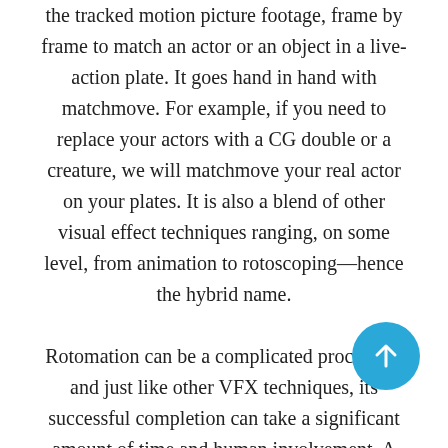the tracked motion picture footage, frame by frame to match an actor or an object in a live-action plate. It goes hand in hand with matchmove. For example, if you need to replace your actors with a CG double or a creature, we will matchmove your real actor on your plates. It is also a blend of other visual effect techniques ranging, on some level, from animation to rotoscoping—hence the hybrid name.

Rotomation can be a complicated procedure, and just like other VFX techniques, its successful completion can take a significant amount of time and human involvement. A rotomation procedure can vary greatly, depending on the needs of the scene. But generally, a procedure done well is based upon the assumption that the camera has been correctly matchmoved and fit into the set. One of the first tasks to do in a procedure is to establish the distance to the element you are rotomating and the camera. Other tasks following this chain procedure, which includes among other setting the initial camera...
[Figure (other): Blue circular floating action button with upward arrow icon]